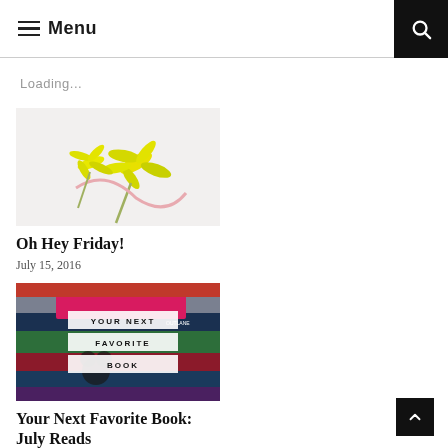≡ Menu
Loading...
[Figure (photo): Yellow flowers on white background]
Oh Hey Friday!
July 15, 2016
[Figure (photo): Stack of books with overlay text: YOUR NEXT FAVORITE BOOK]
Your Next Favorite Book: July Reads
August 9, 2016
[Figure (photo): Person with gold number 28 balloons in front of colorful striped background]